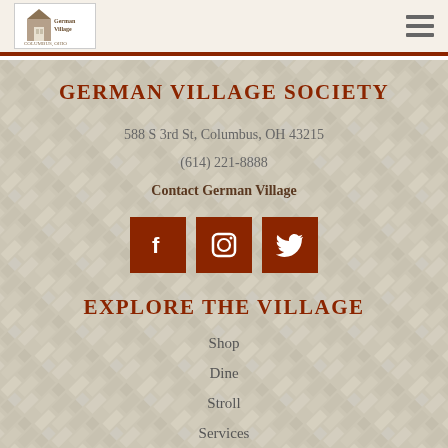German Village Society - website header with logo and hamburger menu
GERMAN VILLAGE SOCIETY
588 S 3rd St, Columbus, OH 43215
(614) 221-8888
Contact German Village
[Figure (infographic): Three brown square social media icon buttons: Facebook (f), Instagram (camera), Twitter (bird)]
EXPLORE THE VILLAGE
Shop
Dine
Stroll
Services
Beyond the Bricks